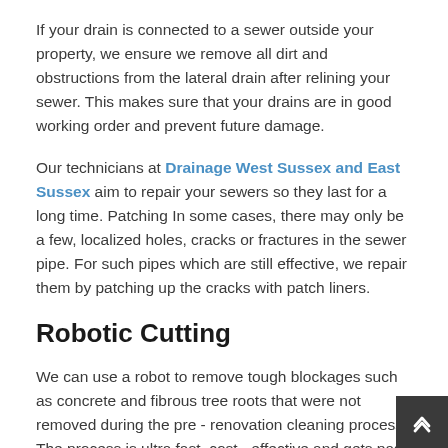If your drain is connected to a sewer outside your property, we ensure we remove all dirt and obstructions from the lateral drain after relining your sewer. This makes sure that your drains are in good working order and prevent future damage.
Our technicians at Drainage West Sussex and East Sussex aim to repair your sewers so they last for a long time. Patching In some cases, there may only be a few, localized holes, cracks or fractures in the sewer pipe. For such pipes which are still effective, we repair them by patching up the cracks with patch liners.
Robotic Cutting
We can use a robot to remove tough blockages such as concrete and fibrous tree roots that were not removed during the pre - renovation cleaning process. The process is ultra fast, cost - effective and gets past entry restrictions easily. Sometimes, this service is enough to repair your sewer when